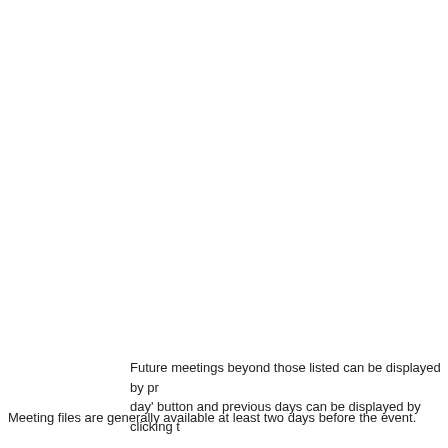Future meetings beyond those listed can be displayed by pr day' button and previous days can be displayed by clicking t
Meeting files are generally available at least two days before the event.